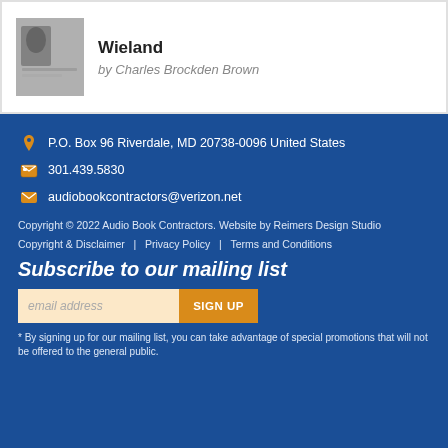[Figure (illustration): Thumbnail image of a book or inkwell, black and white photo]
Wieland
by Charles Brockden Brown
P.O. Box 96 Riverdale, MD 20738-0096 United States
301.439.5830
audiobookcontractors@verizon.net
Copyright © 2022 Audio Book Contractors. Website by Reimers Design Studio
Copyright & Disclaimer   |   Privacy Policy   |   Terms and Conditions
Subscribe to our mailing list
email address
SIGN UP
* By signing up for our mailing list, you can take advantage of special promotions that will not be offered to the general public.